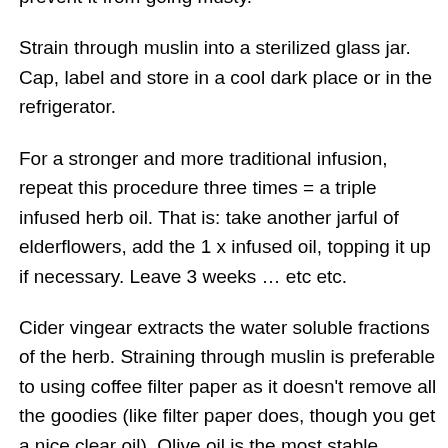prevent it from going musty.
Strain through muslin into a sterilized glass jar. Cap, label and store in a cool dark place or in the refrigerator.
For a stronger and more traditional infusion, repeat this procedure three times = a triple infused herb oil. That is: take another jarful of elderflowers, add the 1 x infused oil, topping it up if necessary. Leave 3 weeks … etc etc.
Cider vingear extracts the water soluble fractions of the herb. Straining through muslin is preferable to using coffee filter paper as it doesn't remove all the goodies (like filter paper does, though you get a nice clear oil). Olive oil is the most stable cosmetic oil, and best for making